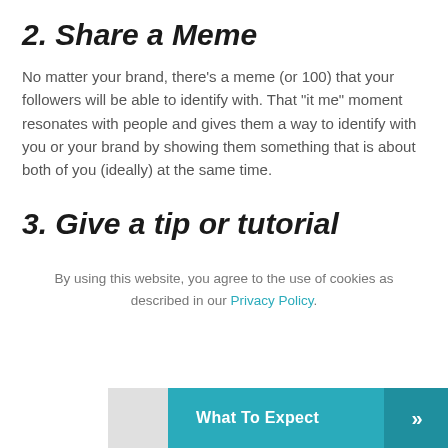2. Share a Meme
No matter your brand, there’s a meme (or 100) that your followers will be able to identify with. That “it me” moment resonates with people and gives them a way to identify with you or your brand by showing them something that is about both of you (ideally) at the same time.
3. Give a tip or tutorial
By using this website, you agree to the use of cookies as described in our Privacy Policy.
[Figure (other): Teal call-to-action button reading 'What To Expect' with double chevron arrow on darker teal background, partially visible gray box to the left]